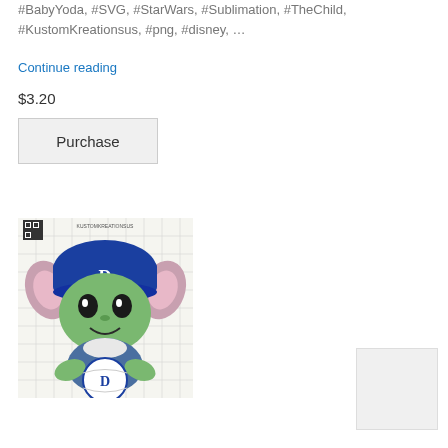#BabyYoda, #SVG, #StarWars, #Sublimation, #TheChild, #KustomKreationsus, #png, #disney, …
Continue reading
$3.20
Purchase
[Figure (photo): Baby Yoda (The Child) SVG illustration wearing a Duke Blue Devils cap and holding a Duke logo ball, on a grid background with KustomKreationsus watermark]